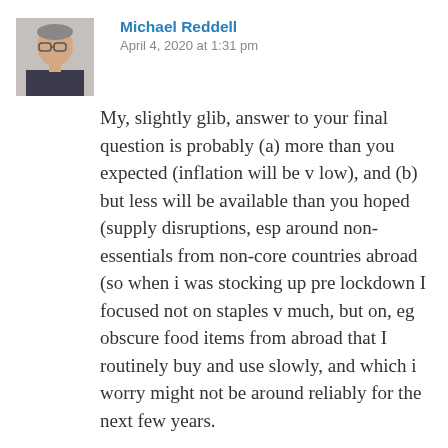[Figure (photo): Headshot photo of a middle-aged man with glasses wearing a dark jacket]
Michael Reddell
April 4, 2020 at 1:31 pm
My, slightly glib, answer to your final question is probably (a) more than you expected (inflation will be v low), and (b) but less will be available than you hoped (supply disruptions, esp around non-essentials from non-core countries abroad (so when i was stocking up pre lockdown I focused not on staples v much, but on, eg obscure food items from abroad that I routinely buy and use slowly, and which i worry might not be around reliably for the next few years.